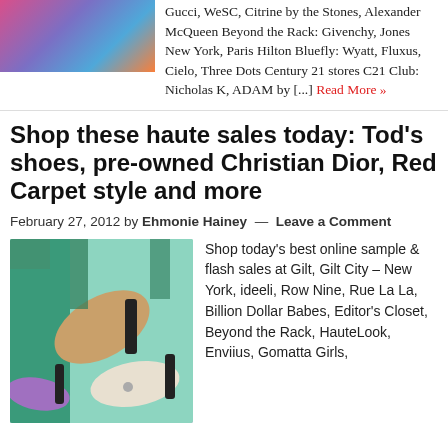[Figure (photo): Partial image of people at top left, cropped]
Gucci, WeSC, Citrine by the Stones, Alexander McQueen Beyond the Rack: Givenchy, Jones New York, Paris Hilton Bluefly: Wyatt, Fluxus, Cielo, Three Dots Century 21 stores C21 Club: Nicholas K, ADAM by [...] Read More »
Shop these haute sales today: Tod's shoes, pre-owned Christian Dior, Red Carpet style and more
February 27, 2012 by Ehmonie Hainey — Leave a Comment
[Figure (photo): Photo of various high-heeled shoes and loafers on a light blue/teal background]
Shop today's best online sample & flash sales at Gilt, Gilt City – New York, ideeli, Row Nine, Rue La La, Billion Dollar Babes, Editor's Closet, Beyond the Rack, HauteLook, Enviius, Gomatta Girls,